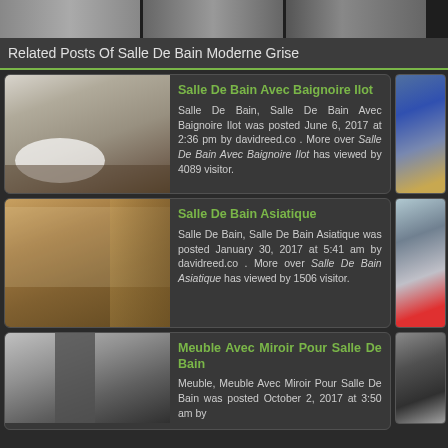[Figure (photo): Top strip with three bathroom thumbnail images]
Related Posts Of Salle De Bain Moderne Grise
[Figure (photo): Bathroom with freestanding oval bathtub, white walls]
Salle De Bain Avec Baignoire Ilot
Salle De Bain, Salle De Bain Avec Baignoire Ilot was posted June 6, 2017 at 2:36 pm by davidreed.co . More over Salle De Bain Avec Baignoire Ilot has viewed by 4089 visitor.
[Figure (photo): Partial right column bathroom image with blue tiles and globe]
[Figure (photo): Asian style bathroom interior with wooden screens]
Salle De Bain Asiatique
Salle De Bain, Salle De Bain Asiatique was posted January 30, 2017 at 5:41 am by davidreed.co . More over Salle De Bain Asiatique has viewed by 1506 visitor.
[Figure (photo): Partial right column image with silver bathroom fixture]
[Figure (photo): Grey mirrored bathroom furniture]
Meuble Avec Miroir Pour Salle De Bain
Meuble, Meuble Avec Miroir Pour Salle De Bain was posted October 2, 2017 at 3:50 am by
[Figure (photo): Partial right column image with pendant lights bathroom]